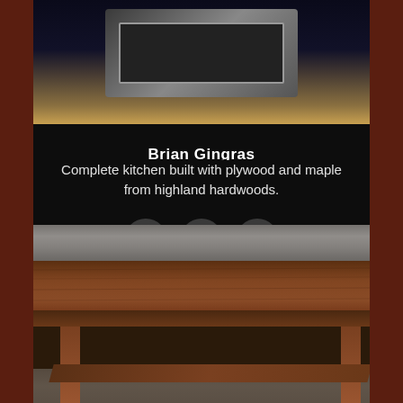[Figure (photo): Top portion of a kitchen built with dark navy cabinetry and stainless steel appliance/oven visible, with light wood flooring]
Brian Gingras
Complete kitchen built with plywood and maple from highland hardwoods.
[Figure (infographic): Three social sharing icons: Twitter (bird), Facebook (f), and Pinterest (p) as white icons on dark gray circles]
[Figure (photo): Close-up photo of a wooden coffee table or furniture piece made from walnut or dark hardwood, with cross-brace shelf underneath, wood shavings and workshop debris visible in background]